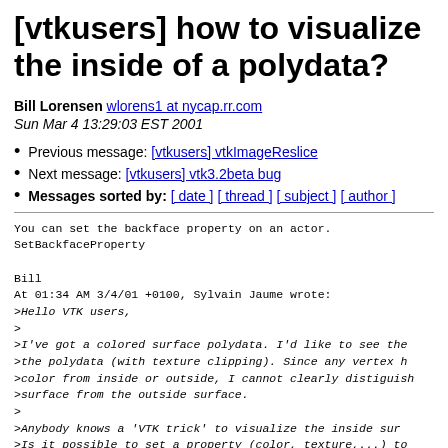[vtkusers] how to visualize the inside of a polydata?
Bill Lorensen wlorens1 at nycap.rr.com
Sun Mar 4 13:29:03 EST 2001
Previous message: [vtkusers] vtkImageReslice
Next message: [vtkusers] vtk3.2beta bug
Messages sorted by: [ date ] [ thread ] [ subject ] [ author ]
You can set the backface property on an actor.
SetBackfaceProperty

Bill
At 01:34 AM 3/4/01 +0100, Sylvain Jaume wrote:
>Hello VTK users,
>
>I've got a colored surface polydata. I'd like to see the
>the polydata (with texture clipping). Since any vertex h
>color from inside or outside, I cannot clearly distiguish
>surface from the outside surface.
>
>Anybody knows a 'VTK trick' to visualize the inside sur
>Is it possible to set a property (color, texture,...) to